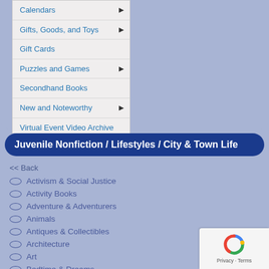Calendars
Gifts, Goods, and Toys
Gift Cards
Puzzles and Games
Secondhand Books
New and Noteworthy
Virtual Event Video Archive
Juvenile Nonfiction / Lifestyles / City & Town Life
<< Back
Activism & Social Justice
Activity Books
Adventure & Adventurers
Animals
Antiques & Collectibles
Architecture
Art
Bedtime & Dreams
Biography & Autobiography
Books & Libraries